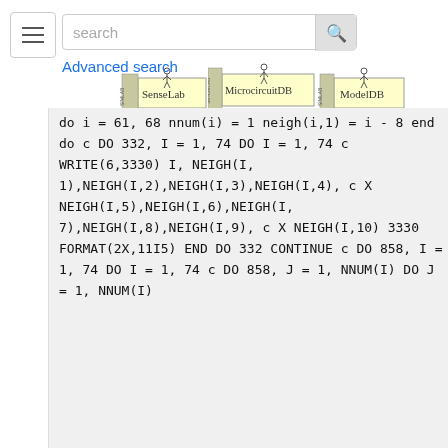[Figure (screenshot): Top navigation bar with hamburger menu, search box with 'search' placeholder text and search icon button, 'Advanced search' link in blue, and three database logos: SenseLab, MicrocircuitDB, ModelDB]
do i = 61, 68
    nnum(i) = 1
    neigh(i,1) = i - 8
    end do

c         DO 332, I = 1, 74
          DO I = 1, 74
c             WRITE(6,3330) I, NEIGH(I,
1),NEIGH(I,2),NEIGH(I,3),NEIGH(I,4),
c     X NEIGH(I,5),NEIGH(I,6),NEIGH(I,
7),NEIGH(I,8),NEIGH(I,9),
c     X NEIGH(I,10)
3330      FORMAT(2X,11I5)
          END DO
332       CONTINUE
c         DO 858, I = 1, 74
          DO I = 1, 74
c         DO 858, J = 1, NNUM(I)
          DO J = 1, NNUM(I)